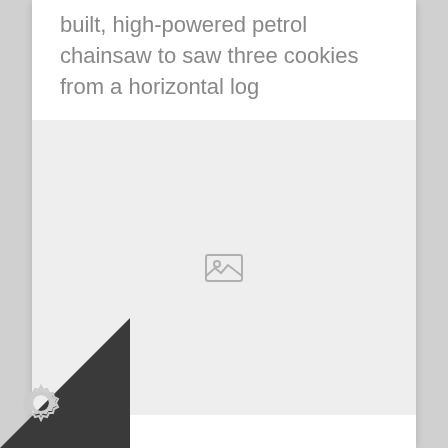built, high-powered petrol chainsaw to saw three cookies from a horizontal log
[Figure (photo): Placeholder image area with a broken/missing image icon centered on a light gray background]